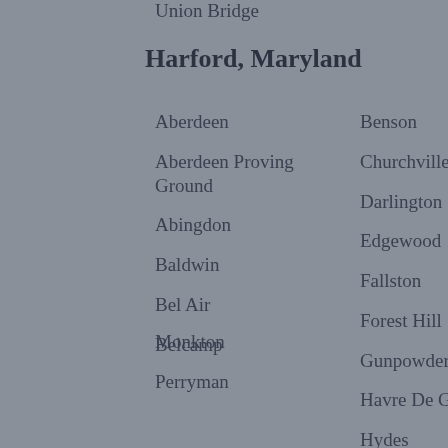Union Bridge
Harford, Maryland
Aberdeen
Aberdeen Proving Ground
Abingdon
Baldwin
Bel Air
Belcamp
Benson
Churchville
Darlington
Edgewood
Fallston
Forest Hill
Gunpowder
Havre De Grace
Hydes
Jarrettsville
Joppa
Kingsville
Monkton
Perryman